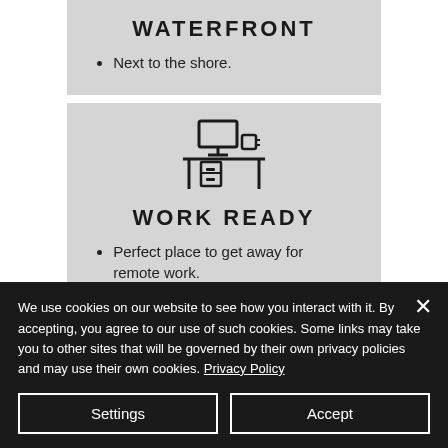WATERFRONT
Next to the shore.
[Figure (illustration): Icon of a desk with a monitor, drawer unit, and a coffee cup.]
WORK READY
Perfect place to get away for remote work.
Contact the office for a more
We use cookies on our website to see how you interact with it. By accepting, you agree to our use of such cookies. Some links may take you to other sites that will be governed by their own privacy policies and may use their own cookies. Privacy Policy
Settings
Accept